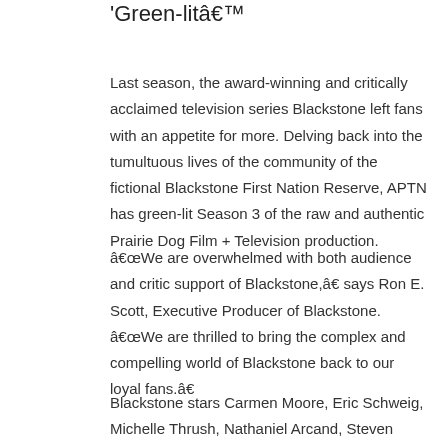‘Green-litâ€™
Last season, the award-winning and critically acclaimed television series Blackstone left fans with an appetite for more. Delving back into the tumultuous lives of the community of the fictional Blackstone First Nation Reserve, APTN has green-lit Season 3 of the raw and authentic Prairie Dog Film + Television production.
â€œWe are overwhelmed with both audience and critic support of Blackstone,â€� says Ron E. Scott, Executive Producer of Blackstone. â€œWe are thrilled to bring the complex and compelling world of Blackstone back to our loyal fans.â€�
Blackstone stars Carmen Moore, Eric Schweig, Michelle Thrush, Nathaniel Arcand, Steven Cree Molison, Andrea